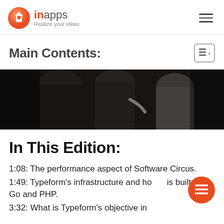inapps – Realize your ideas
Main Contents:
[Figure (photo): Dark photo of people at Software Circus event, silhouetted figures in black clothing]
In This Edition:
1:08: The performance aspect of Software Circus.
1:49: Typeform's infrastructure and how is built on Go and PHP.
3:32: What is Typeform's objective in